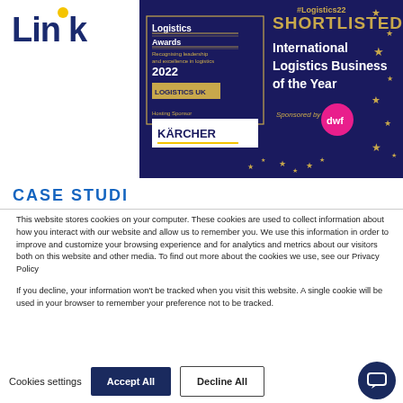[Figure (logo): Link logistics company logo with yellow dot above the 'i']
[Figure (infographic): Logistics Awards 2022 banner: dark navy background with gold stars. Text reads '#Logistics22', 'Logistics Awards', 'Recognising leadership and excellence in logistics', '2022', 'LOGISTICS UK', 'Hosting Sponsor', 'KÄRCHER', 'SHORTLISTED International Logistics Business of the Year', 'Sponsored by dwf']
CASE STUD
This website stores cookies on your computer. These cookies are used to collect information about how you interact with our website and allow us to remember you. We use this information in order to improve and customize your browsing experience and for analytics and metrics about our visitors both on this website and other media. To find out more about the cookies we use, see our Privacy Policy
If you decline, your information won't be tracked when you visit this website. A single cookie will be used in your browser to remember your preference not to be tracked.
Cookies settings   Accept All   Decline All